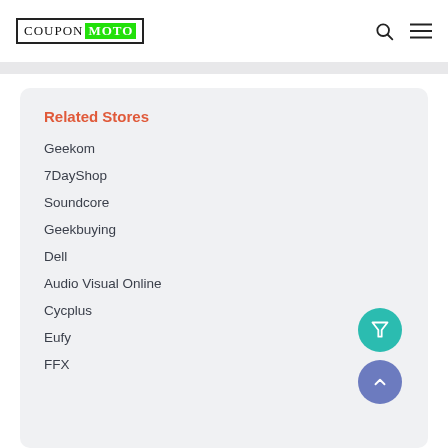CouponMoto
Related Stores
Geekom
7DayShop
Soundcore
Geekbuying
Dell
Audio Visual Online
Cycplus
Eufy
FFX